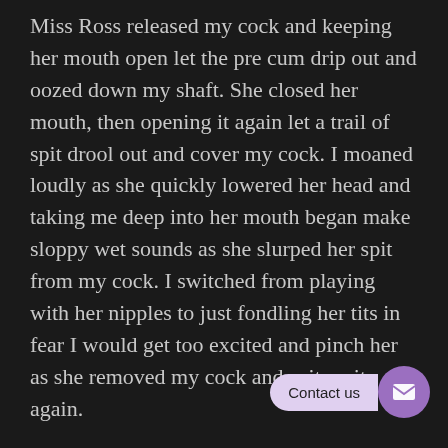Miss Ross released my cock and keeping her mouth open let the pre cum drip out and oozed down my shaft. She closed her mouth, then opening it again let a trail of spit drool out and cover my cock. I moaned loudly as she quickly lowered her head and taking me deep into her mouth began make sloppy wet sounds as she slurped her spit from my cock. I switched from playing with her nipples to just fondling her tits in fear I would get too excited and pinch her as she removed my cock and spit on it again.
Once more she made a show of slurping it from my cock, but this time instead of releasing me from her mouth she began bobbing her head slowly. I sighed softly and again forced myself to relax and enjoy the incredible sight of my cock sliding in between those full red lips. She kept taking me deeper each time her lips slid down on it. I groaned when I felt her lips wrap tightly around the base